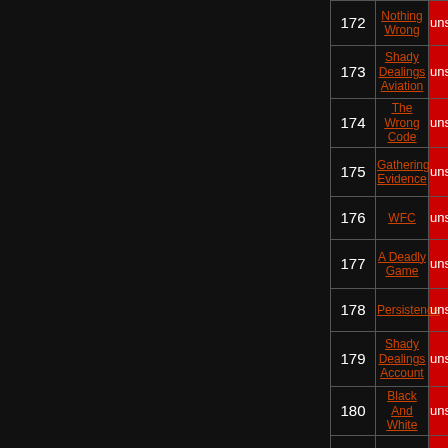| # | Title | Status |
| --- | --- | --- |
| 172 | Nothing Wrong | unsolved |
| 173 | Shady Dealings Aviation | unsolved |
| 174 | The Wrong Code | unsolved |
| 175 | Gathering Evidence | unsolved |
| 176 | WFC | unsolved |
| 177 | A Deadly Game | unsolved |
| 178 | Persistence | unsolved |
| 179 | Shady Dealings Account | unsolved |
| 180 | Black And White | unsolved |
| 181 | Piece By Piece | unsolved |